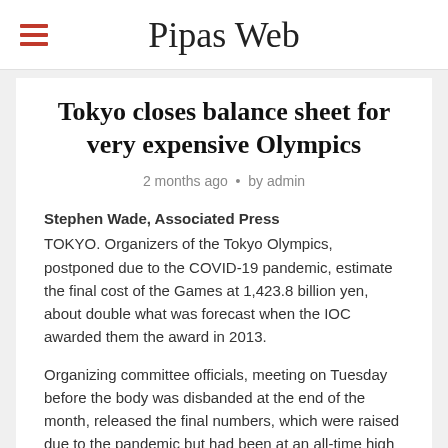Pipas Web
Tokyo closes balance sheet for very expensive Olympics
2 months ago • by admin
Stephen Wade, Associated Press
TOKYO. Organizers of the Tokyo Olympics, postponed due to the COVID-19 pandemic, estimate the final cost of the Games at 1,423.8 billion yen, about double what was forecast when the IOC awarded them the award in 2013.
Organizing committee officials, meeting on Tuesday before the body was disbanded at the end of the month, released the final numbers, which were raised due to the pandemic but had been at an all-time high long before.